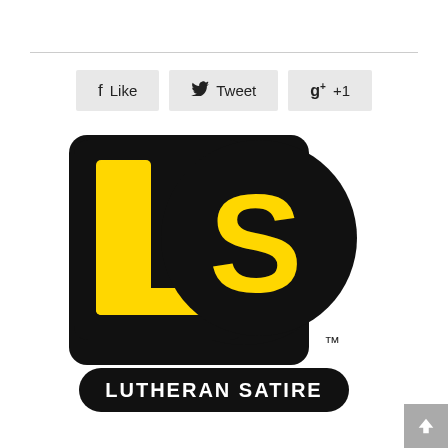[Figure (logo): Lutheran Satire logo: black rounded square background with yellow block letter L on left, large black S overlapping on right, trademark symbol, and 'LUTHERAN SATIRE' text in white on black rounded rectangle below]
[Figure (infographic): Social sharing buttons: Like (Facebook), Tweet (Twitter), g+ +1 (Google Plus)]